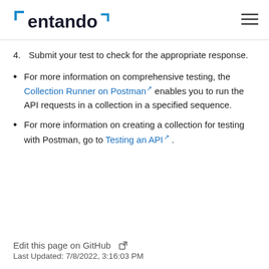entando
4. Submit your test to check for the appropriate response.
For more information on comprehensive testing, the Collection Runner on Postman enables you to run the API requests in a collection in a specified sequence.
For more information on creating a collection for testing with Postman, go to Testing an API .
Edit this page on GitHub
Last Updated: 7/8/2022, 3:16:03 PM